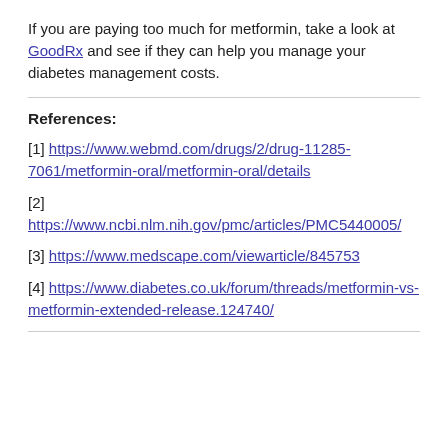If you are paying too much for metformin, take a look at GoodRx and see if they can help you manage your diabetes management costs.
References:
[1] https://www.webmd.com/drugs/2/drug-11285-7061/metformin-oral/metformin-oral/details
[2] https://www.ncbi.nlm.nih.gov/pmc/articles/PMC5440005/
[3] https://www.medscape.com/viewarticle/845753
[4] https://www.diabetes.co.uk/forum/threads/metformin-vs-metformin-extended-release.124740/